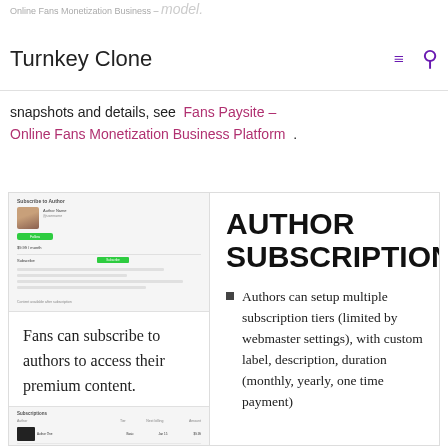Turnkey Clone
For a complete solution tour with more snapshots and details, see Fans Paysite – Online Fans Monetization Business Platform .
[Figure (screenshot): Screenshot of a Subscribe to Author page showing a profile photo, follow button, pricing, and subscription details]
Fans can subscribe to authors to access their premium content.
[Figure (screenshot): Screenshot of a subscription management table showing author thumbnails and subscription tier data]
AUTHOR SUBSCRIPTIONS
Authors can setup multiple subscription tiers (limited by webmaster settings), with custom label, description, duration (monthly, yearly, one time payment)